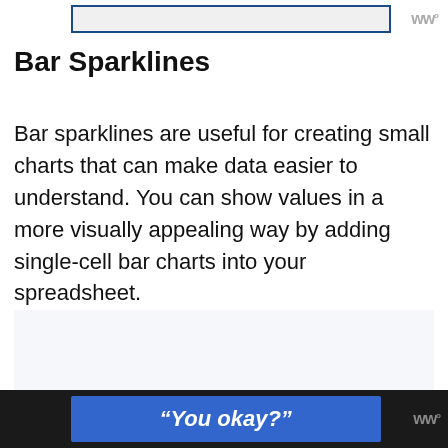Bar Sparklines
Bar sparklines are useful for creating small charts that can make data easier to understand. You can show values in a more visually appealing way by adding single-cell bar charts into your spreadsheet.
“You okay?”